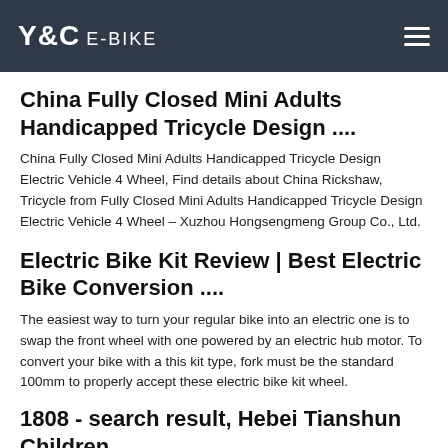Y&C E-BIKE
China Fully Closed Mini Adults Handicapped Tricycle Design ....
China Fully Closed Mini Adults Handicapped Tricycle Design Electric Vehicle 4 Wheel, Find details about China Rickshaw, Tricycle from Fully Closed Mini Adults Handicapped Tricycle Design Electric Vehicle 4 Wheel – Xuzhou Hongsengmeng Group Co., Ltd.
Electric Bike Kit Review | Best Electric Bike Conversion ....
The easiest way to turn your regular bike into an electric one is to swap the front wheel with one powered by an electric hub motor. To convert your bike with a this kit type, fork must be the standard 100mm to properly accept these electric bike kit wheel.
1808 - search result, Hebei Tianshun Children